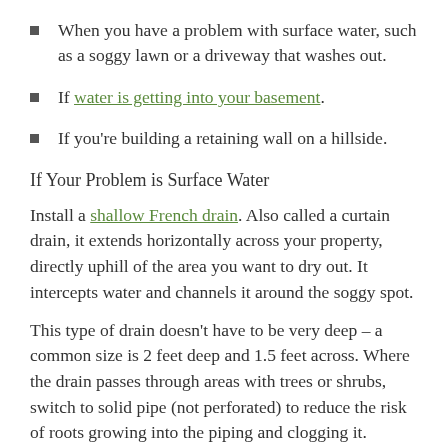When you have a problem with surface water, such as a soggy lawn or a driveway that washes out.
If water is getting into your basement.
If you're building a retaining wall on a hillside.
If Your Problem is Surface Water
Install a shallow French drain. Also called a curtain drain, it extends horizontally across your property, directly uphill of the area you want to dry out. It intercepts water and channels it around the soggy spot.
This type of drain doesn't have to be very deep – a common size is 2 feet deep and 1.5 feet across. Where the drain passes through areas with trees or shrubs, switch to solid pipe (not perforated) to reduce the risk of roots growing into the piping and clogging it.